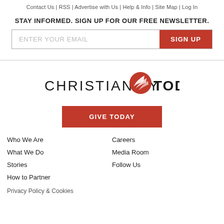Contact Us | RSS | Advertise with Us | Help & Info | Site Map | Log In
STAY INFORMED. SIGN UP FOR OUR FREE NEWSLETTER.
[Figure (other): Email signup form with 'ENTER YOUR EMAIL' input field and red 'SIGN UP' button]
[Figure (logo): Christianity Today logo with red sun/feather icon]
[Figure (other): Red 'GIVE TODAY' button]
Who We Are
Careers
What We Do
Media Room
Stories
Follow Us
How to Partner
Privacy Policy & Cookies